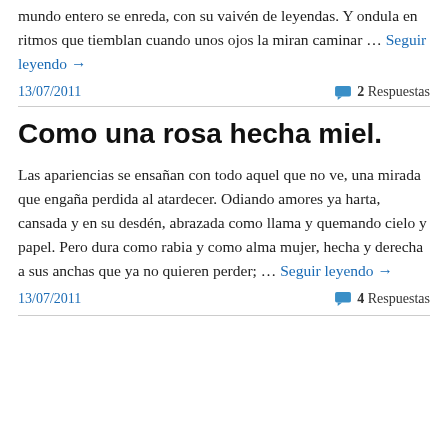mundo entero se enreda, con su vaivén de leyendas. Y ondula en ritmos que tiemblan cuando unos ojos la miran caminar … Seguir leyendo →
13/07/2011
2 Respuestas
Como una rosa hecha miel.
Las apariencias se ensañan con todo aquel que no ve, una mirada que engaña perdida al atardecer. Odiando amores ya harta, cansada y en su desdén, abrazada como llama y quemando cielo y papel. Pero dura como rabia y como alma mujer, hecha y derecha a sus anchas que ya no quieren perder; … Seguir leyendo →
13/07/2011
4 Respuestas